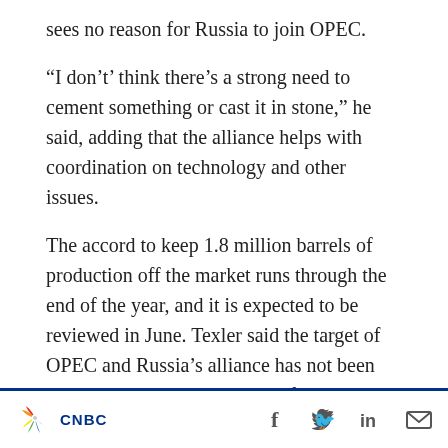sees no reason for Russia to join OPEC.
“I don’t’ think there’s a strong need to cement something or cast it in stone,” he said, adding that the alliance helps with coordination on technology and other issues.
The accord to keep 1.8 million barrels of production off the market runs through the end of the year, and it is expected to be reviewed in June. Texler said the target of OPEC and Russia’s alliance has not been met yet, but that rebalancing of the market could come in the second half of the year, “maybe third quarter.”
CNBC [logo] [social icons: Facebook, Twitter, LinkedIn, Email]